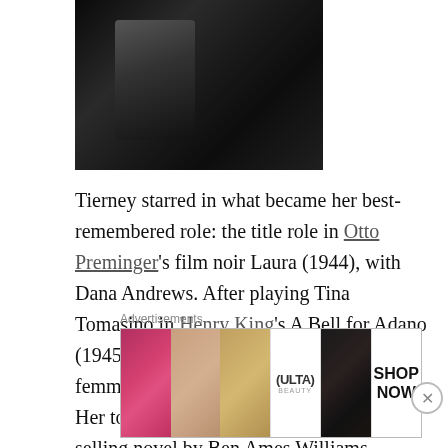[Figure (photo): Black and white partial photograph visible at top of page, dark tones]
Tierney starred in what became her best-remembered role: the title role in Otto Preminger's film noir Laura (1944), with Dana Andrews. After playing Tina Tomasino in Henry King's A Bell for Adano (1945), she played the jealous, narcissistic femme fatale Ellen Berent Harland in Leave Her to Heaven (1945), adapted from a best selling novel by Ben Ames Williams.
Advertisements
[Figure (photo): ULTA Beauty advertisement banner showing makeup and beauty imagery with SHOP NOW call to action]